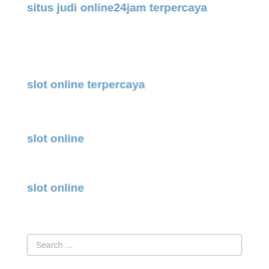situs judi online24jam terpercaya
slot online terpercaya
slot online
slot online
Search …
Recent Posts
Attracting Love – Five Soul Mate Clues – Be An Appreciation Detective